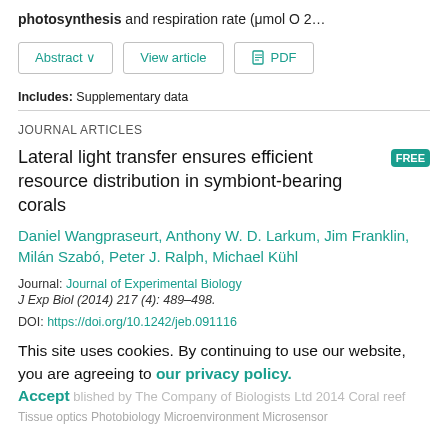photosynthesis and respiration rate (μmol O 2…
[Figure (other): Three navigation buttons: Abstract (with dropdown arrow), View article, and PDF (with icon)]
Includes: Supplementary data
JOURNAL ARTICLES
Lateral light transfer ensures efficient resource distribution in symbiont-bearing corals
Daniel Wangpraseurt, Anthony W. D. Larkum, Jim Franklin, Milán Szabó, Peter J. Ralph, Michael Kühl
Journal: Journal of Experimental Biology
J Exp Biol (2014) 217 (4): 489–498.
DOI: https://doi.org/10.1242/jeb.091116
This site uses cookies. By continuing to use our website, you are agreeing to our privacy policy. Accept
blished by The Company of Biologists Ltd 2014 Coral reef Tissue optics Photobiology Microenvironment Microsensor